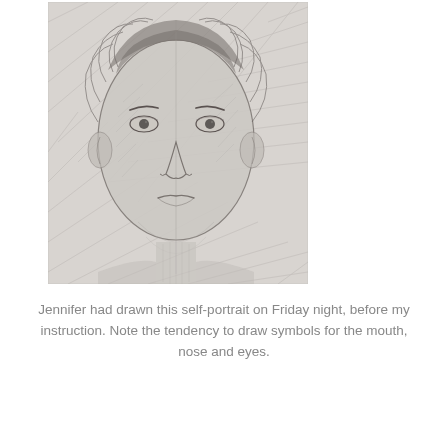[Figure (illustration): A pencil sketch self-portrait of a woman named Jennifer, showing a face with shading done in hatching strokes. The drawing shows symbolic representations of facial features — eyes, nose, mouth — rendered in a loose, gestural pencil style with a light gray/white background.]
Jennifer had drawn this self-portrait on Friday night, before my instruction. Note the tendency to draw symbols for the mouth, nose and eyes.